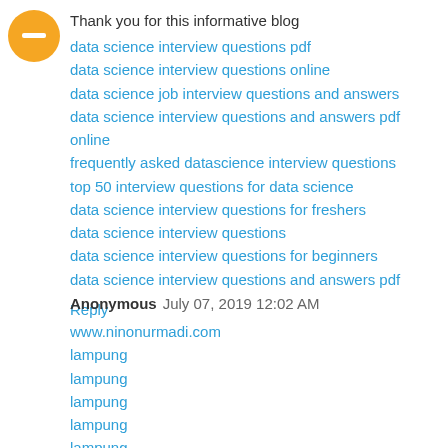[Figure (other): Orange circular avatar icon with a minus/dash symbol in the center]
Thank you for this informative blog
data science interview questions pdf
data science interview questions online
data science job interview questions and answers
data science interview questions and answers pdf online
frequently asked datascience interview questions
top 50 interview questions for data science
data science interview questions for freshers
data science interview questions
data science interview questions for beginners
data science interview questions and answers pdf
Reply
Anonymous  July 07, 2019 12:02 AM
www.ninonurmadi.com
lampung
lampung
lampung
lampung
lampung